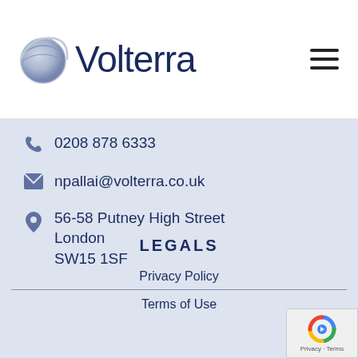[Figure (logo): Volterra company logo with globe graphic and dark navy text]
0208 878 6333
npallai@volterra.co.uk
56-58 Putney High Street
London
SW15 1SF
LEGALS
Privacy Policy
Terms of Use